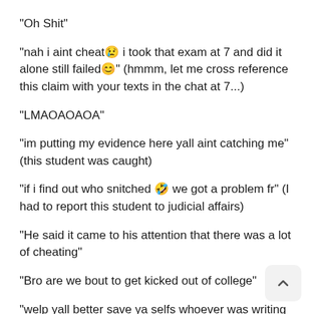“Oh Shit”
“nah i aint cheat😢 i took that exam at 7 and did it alone still failed😊” (hmmm, let me cross reference this claim with your texts in the chat at 7...)
“LMAOAOAOA”
“im putting my evidence here yall aint catching me” (this student was caught)
“if i find out who snitched 🤣 we got a problem fr” (I had to report this student to judicial affairs)
“He said it came to his attention that there was a lot of cheating”
“Bro are we bout to get kicked out of college”
“welp yall better save ya selfs whoever was writing